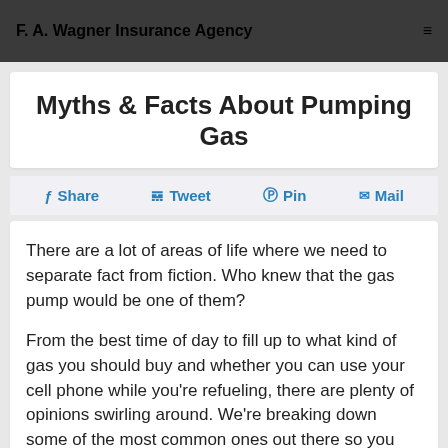F. A. Wagner Insurance Agency
Myths & Facts About Pumping Gas
Share  Tweet  Pin  Mail
There are a lot of areas of life where we need to separate fact from fiction. Who knew that the gas pump would be one of them?
From the best time of day to fill up to what kind of gas you should buy and whether you can use your cell phone while you're refueling, there are plenty of opinions swirling around. We're breaking down some of the most common ones out there so you can be informed and stay safe while you're at the pump.
Myth or Fact? You Shouldn't Smoke at a Gas Pump